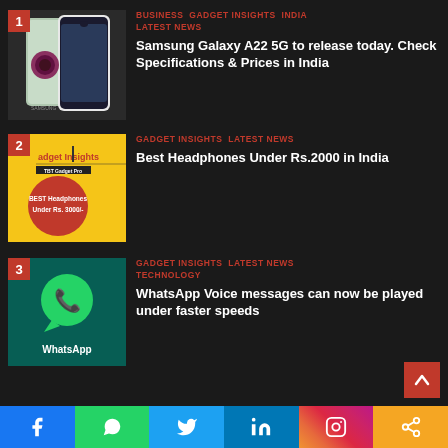[Figure (photo): Samsung Galaxy A22 5G smartphone image against dark background]
BUSINESS  GADGET INSIGHTS  INDIA  LATEST NEWS
Samsung Galaxy A22 5G to release today. Check Specifications & Prices in India
[Figure (photo): Yellow Gadget Insights branded headphone promotional image with red circle badge]
GADGET INSIGHTS  LATEST NEWS
Best Headphones Under Rs.2000 in India
[Figure (logo): WhatsApp logo on teal background with WhatsApp text]
GADGET INSIGHTS  LATEST NEWS  TECHNOLOGY
WhatsApp Voice messages can now be played under faster speeds
Social share buttons: Facebook, WhatsApp, Twitter, LinkedIn, Instagram, Share